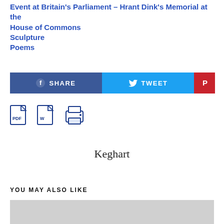Event at Britain's Parliament – Hrant Dink's Memorial at the House of Commons
Sculpture
Poems
[Figure (screenshot): Social share buttons: Facebook SHARE (dark blue), Twitter TWEET (cyan blue), Pinterest icon (red)]
[Figure (screenshot): Document action icons: PDF icon, Word icon, Print icon]
Keghart
YOU MAY ALSO LIKE
[Figure (photo): Gray placeholder image at bottom]